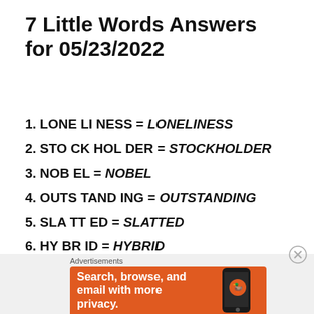7 Little Words Answers for 05/23/2022
1. LONE LI NESS = LONELINESS
2. STO CK HOL DER = STOCKHOLDER
3. NOB EL = NOBEL
4. OUTS TAND ING = OUTSTANDING
5. SLA TT ED = SLATTED
6. HY BR ID = HYBRID
7. MU LE = MULE
Advertisements
[Figure (screenshot): DuckDuckGo advertisement banner: orange background with text 'Search, browse, and email with more privacy.' and a phone image with DuckDuckGo logo.]